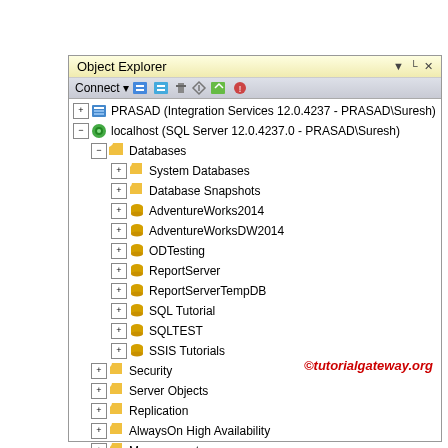[Figure (screenshot): SQL Server Management Studio Object Explorer panel showing a tree structure with PRASAD (Integration Services 12.0.4237 - PRASAD\Suresh) and localhost (SQL Server 12.0.4237.0 - PRASAD\Suresh) nodes. Under localhost, Databases folder is expanded showing: System Databases, Database Snapshots, AdventureWorks2014, AdventureWorksDW2014, ODTesting, ReportServer, ReportServerTempDB, SQL Tutorial, SQLTEST, SSIS Tutorials. Also shows Security, Server Objects, Replication, AlwaysOn High Availability, Management, Integration Services Catalogs. A red copyright watermark reads ©tutorialgateway.org]
©tutorialgateway.org